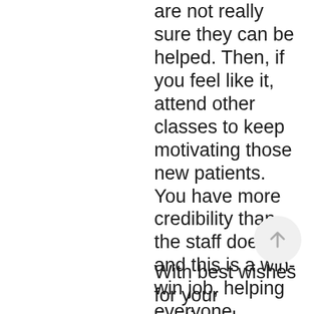are not really sure they can be helped. Then, if you feel like it, attend other classes to keep motivating those new patients. You have more credibility than the staff does and this is a win-win job, helping everyone involved.
With best wishes for your continued